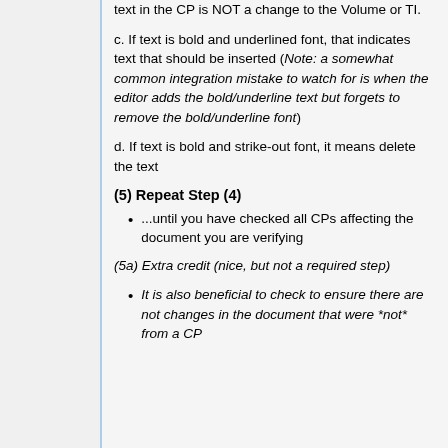text in the CP is NOT a change to the Volume or TI.
c. If text is bold and underlined font, that indicates text that should be inserted (Note: a somewhat common integration mistake to watch for is when the editor adds the bold/underline text but forgets to remove the bold/underline font)
d. If text is bold and strike-out font, it means delete the text
(5) Repeat Step (4)
...until you have checked all CPs affecting the document you are verifying
(5a) Extra credit (nice, but not a required step)
It is also beneficial to check to ensure there are not changes in the document that were *not* from a CP